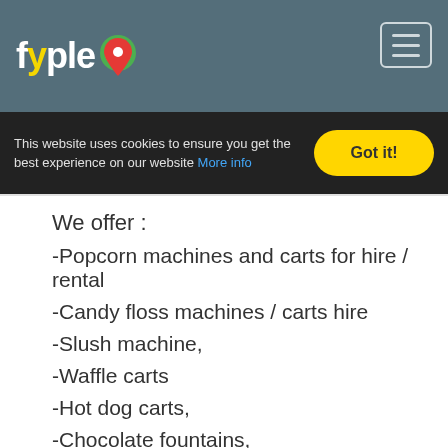fyple
This website uses cookies to ensure you get the best experience on our website More info Got it!
We offer :
-Popcorn machines and carts for hire / rental
-Candy floss machines / carts hire
-Slush machine,
-Waffle carts
-Hot dog carts,
-Chocolate fountains,